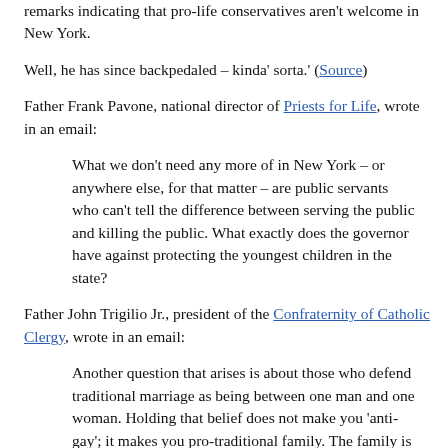remarks indicating that pro-life conservatives aren't welcome in New York.
Well, he has since backpedaled – kinda' sorta.' (Source)
Father Frank Pavone, national director of Priests for Life, wrote in an email:
What we don't need any more of in New York – or anywhere else, for that matter – are public servants who can't tell the difference between serving the public and killing the public. What exactly does the governor have against protecting the youngest children in the state?
Father John Trigilio Jr., president of the Confraternity of Catholic Clergy, wrote in an email:
Another question that arises is about those who defend traditional marriage as being between one man and one woman. Holding that belief does not make you 'anti-gay'; it makes you pro-traditional family. The family is built on marriage; hence, married couples need and deserve some recognition and support even when not extended to those who are single.